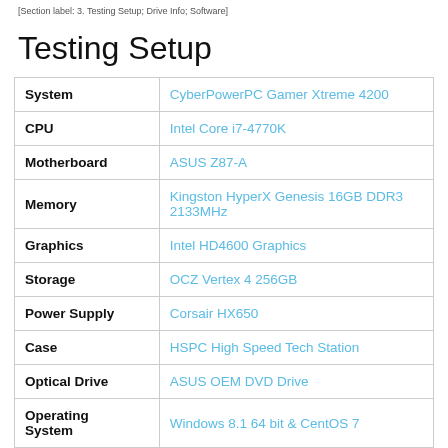[Section label: 3. Testing Setup; Drive Info; Software]
Testing Setup
| Component | Details |
| --- | --- |
| System | CyberPowerPC Gamer Xtreme 4200 |
| CPU | Intel Core i7-4770K |
| Motherboard | ASUS Z87-A |
| Memory | Kingston HyperX Genesis 16GB DDR3 2133MHz |
| Graphics | Intel HD4600 Graphics |
| Storage | OCZ Vertex 4 256GB |
| Power Supply | Corsair HX650 |
| Case | HSPC High Speed Tech Station |
| Optical Drive | ASUS OEM DVD Drive |
| Operating System | Windows 8.1 64 bit & CentOS 7 |